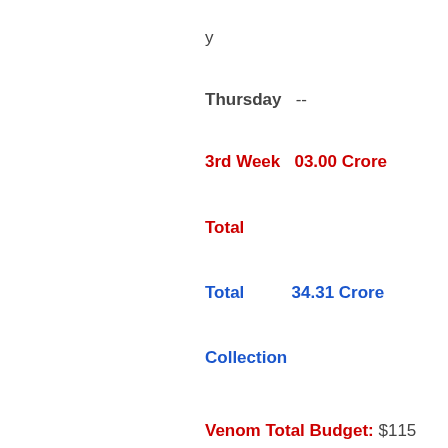y
Thursday  --
3rd Week   03.00 Crore
Total
Total        34.31 Crore
Collection
Venom Total Budget: $115 Million / 850.00 Crores Approx
Production Budget: N/A
Prints & Advertising Cost: N/A
Venom Screens Count:
Venom starring Tom Hardy, Michelle Williams, Riz Ahmed, Scott Haze & Reid